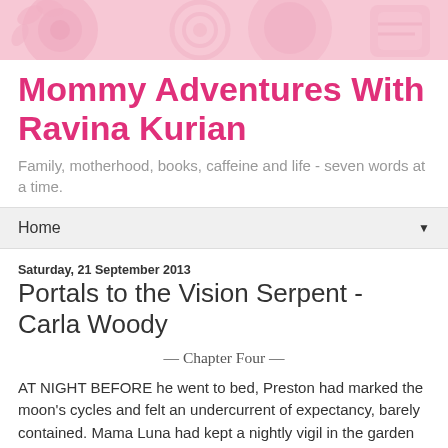[Figure (illustration): Pink decorative header banner with stylized flower and letter shapes in a lighter pink tone]
Mommy Adventures With Ravina Kurian
Family, motherhood, books, caffeine and life - seven words at a time.
Home ▼
Saturday, 21 September 2013
Portals to the Vision Serpent - Carla Woody
— Chapter Four —
AT NIGHT BEFORE he went to bed, Preston had marked the moon's cycles and felt an undercurrent of expectancy, barely contained. Mama Luna had kept a nightly vigil in the garden as well, and the loom continued to rest. The two of them